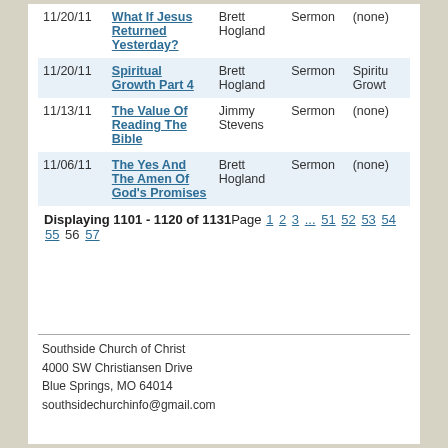| Date | Title | Speaker | Type | Series |
| --- | --- | --- | --- | --- |
| 11/20/11 | What If Jesus Returned Yesterday? | Brett Hogland | Sermon | (none) |
| 11/20/11 | Spiritual Growth Part 4 | Brett Hogland | Sermon | Spiritual Growth |
| 11/13/11 | The Value Of Reading The Bible | Jimmy Stevens | Sermon | (none) |
| 11/06/11 | The Yes And The Amen Of God's Promises | Brett Hogland | Sermon | (none) |
Displaying 1101 - 1120 of 1131Page 1 2 3 ... 51 52 53 54 55 56 57
Southside Church of Christ
4000 SW Christiansen Drive
Blue Springs, MO 64014
southsidechurchinfo@gmail.com